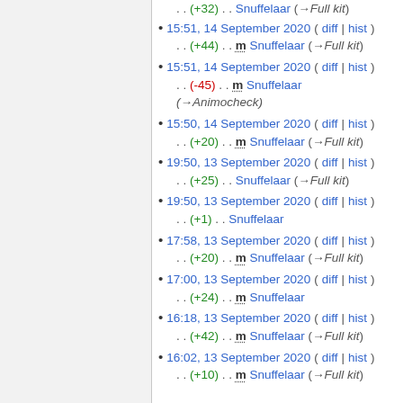(+32) . . Snuffelaar (→Full kit)
15:51, 14 September 2020 (diff | hist) . . (+44) . . m Snuffelaar (→Full kit)
15:51, 14 September 2020 (diff | hist) . . (-45) . . m Snuffelaar (→Animocheck)
15:50, 14 September 2020 (diff | hist) . . (+20) . . m Snuffelaar (→Full kit)
19:50, 13 September 2020 (diff | hist) . . (+25) . . Snuffelaar (→Full kit)
19:50, 13 September 2020 (diff | hist) . . (+1) . . Snuffelaar
17:58, 13 September 2020 (diff | hist) . . (+20) . . m Snuffelaar (→Full kit)
17:00, 13 September 2020 (diff | hist) . . (+24) . . m Snuffelaar
16:18, 13 September 2020 (diff | hist) . . (+42) . . m Snuffelaar (→Full kit)
16:02, 13 September 2020 (diff | hist) . . (+10) . . m Snuffelaar (→Full kit)